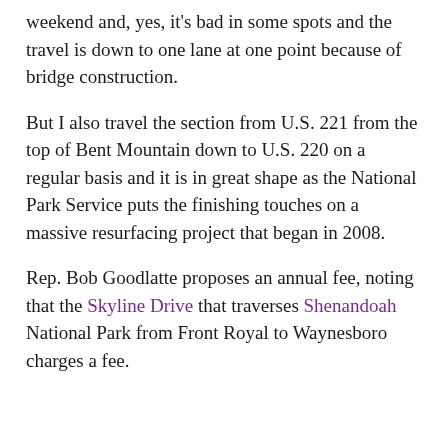weekend and, yes, it's bad in some spots and the travel is down to one lane at one point because of bridge construction.
But I also travel the section from U.S. 221 from the top of Bent Mountain down to U.S. 220 on a regular basis and it is in great shape as the National Park Service puts the finishing touches on a massive resurfacing project that began in 2008.
Rep. Bob Goodlatte proposes an annual fee, noting that the Skyline Drive that traverses Shenandoah National Park from Front Royal to Waynesboro charges a fee.